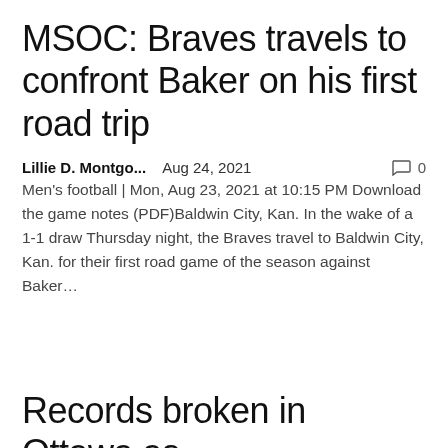MSOC: Braves travels to confront Baker on his first road trip
Lillie D. Montgo...   Aug 24, 2021   💬 0
Men's football | Mon, Aug 23, 2021 at 10:15 PM Download the game notes (PDF)Baldwin City, Kan. In the wake of a 1-1 draw Thursday night, the Braves travel to Baldwin City, Kan. for their first road game of the season against Baker…
Records broken in Ottawa as